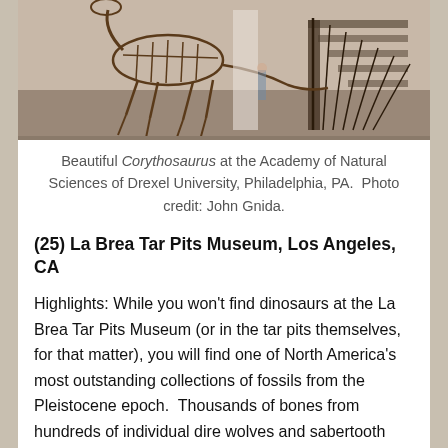[Figure (photo): Dinosaur skeleton display (Corythosaurus) at a museum with stairs and exhibits visible in the background]
Beautiful Corythosaurus at the Academy of Natural Sciences of Drexel University, Philadelphia, PA.  Photo credit: John Gnida.
(25) La Brea Tar Pits Museum, Los Angeles, CA
Highlights: While you won't find dinosaurs at the La Brea Tar Pits Museum (or in the tar pits themselves, for that matter), you will find one of North America's most outstanding collections of fossils from the Pleistocene epoch.  Thousands of bones from hundreds of individual dire wolves and sabertooth “cats” have been recovered.  The